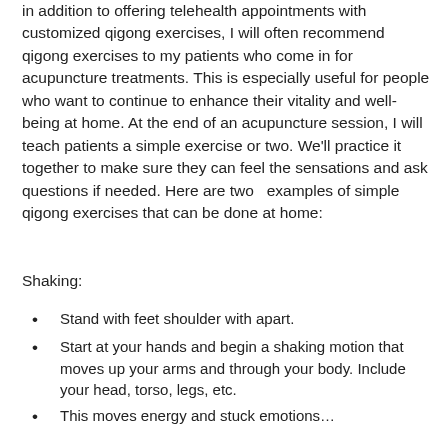in addition to offering telehealth appointments with customized qigong exercises, I will often recommend qigong exercises to my patients who come in for acupuncture treatments. This is especially useful for people who want to continue to enhance their vitality and well-being at home. At the end of an acupuncture session, I will teach patients a simple exercise or two. We'll practice it together to make sure they can feel the sensations and ask questions if needed. Here are two  examples of simple qigong exercises that can be done at home:
Shaking:
Stand with feet shoulder with apart.
Start at your hands and begin a shaking motion that moves up your arms and through your body. Include your head, torso, legs, etc.
This moves energy and stuck emotions…